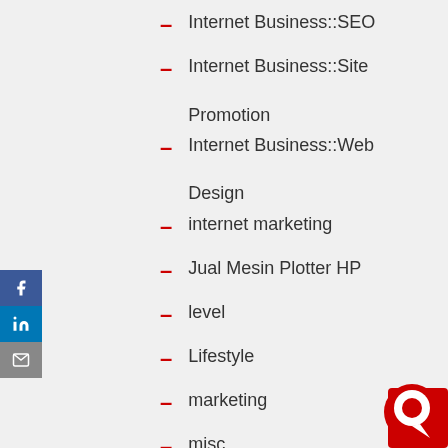Internet Business::SEO
Internet Business::Site Promotion
Internet Business::Web Design
internet marketing
Jual Mesin Plotter HP
level
Lifestyle
marketing
misc
Mobile
[Figure (illustration): Social media sidebar with Facebook, LinkedIn, and email buttons]